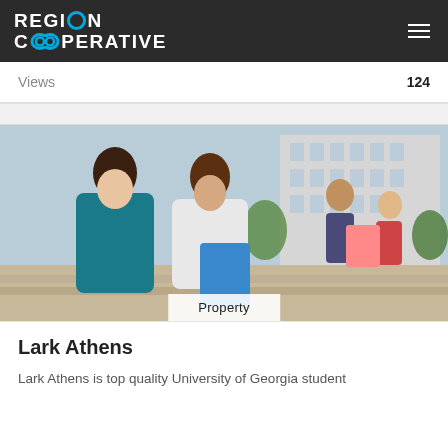REGION COOPERATIVE
Views  124
[Figure (photo): Students sitting outdoors on steps in front of a modern building, reading and studying together. Property label overlay at bottom center.]
Lark Athens
Lark Athens is top quality University of Georgia student